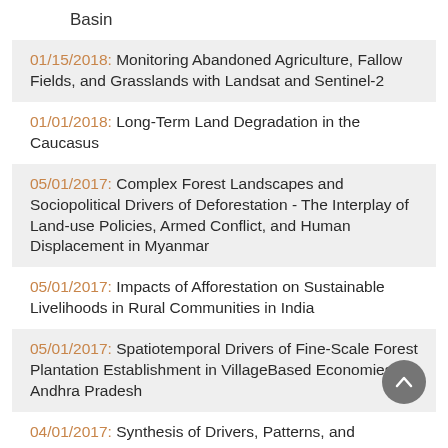Basin
01/15/2018:  Monitoring Abandoned Agriculture, Fallow Fields, and Grasslands with Landsat and Sentinel-2
01/01/2018:  Long-Term Land Degradation in the Caucasus
05/01/2017:  Complex Forest Landscapes and Sociopolitical Drivers of Deforestation - The Interplay of Land-use Policies, Armed Conflict, and Human Displacement in Myanmar
05/01/2017:  Impacts of Afforestation on Sustainable Livelihoods in Rural Communities in India
05/01/2017:  Spatiotemporal Drivers of Fine-Scale Forest Plantation Establishment in VillageBased Economies of Andhra Pradesh
04/01/2017:  Synthesis of Drivers, Patterns, and